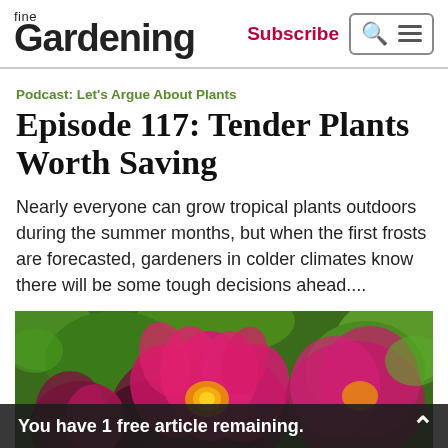fine Gardening | Subscribe
Podcast: Let's Argue About Plants
Episode 117: Tender Plants Worth Saving
Nearly everyone can grow tropical plants outdoors during the summer months, but when the first frosts are forecasted, gardeners in colder climates know there will be some tough decisions ahead....
[Figure (photo): Close-up photograph of vibrant pink and magenta dahlia flowers with green foliage in the background]
You have 1 free article remaining.